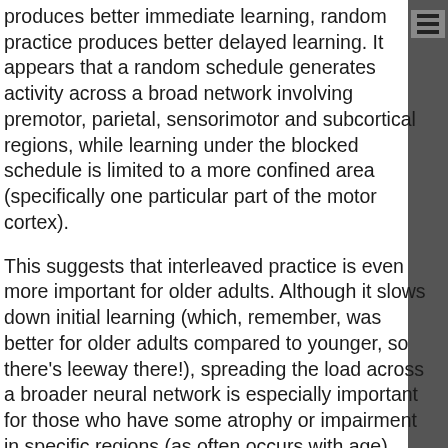produces better immediate learning, random practice produces better delayed learning. It appears that a random schedule generates activity across a broad network involving premotor, parietal, sensorimotor and subcortical regions, while learning under the blocked schedule is limited to a more confined area (specifically one particular part of the motor cortex).
This suggests that interleaved practice is even more important for older adults. Although it slows down initial learning (which, remember, was better for older adults compared to younger, so there's leeway there!), spreading the load across a broader neural network is especially important for those who have some atrophy or impairment in specific regions (as often occurs with age).
Judicious resting during learning may also be of greater benefit for older adults. Consolidation occurs most famously during sleep (and let's not forget how sleep changes in old age), and also occurs to a lesser level while awake, within a few hours of training. But there is also evidence that a boost in skill learning can occur after rests that only last a